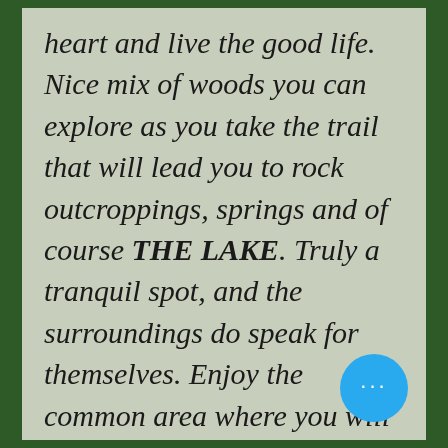heart and live the good life. Nice mix of woods you can explore as you take the trail that will lead you to rock outcroppings, springs and of course THE LAKE. Truly a tranquil spot, and the surroundings do speak for themselves. Enjoy the common area where you will find picnic tables and BBQ's for your convenience. So many possibilities, so